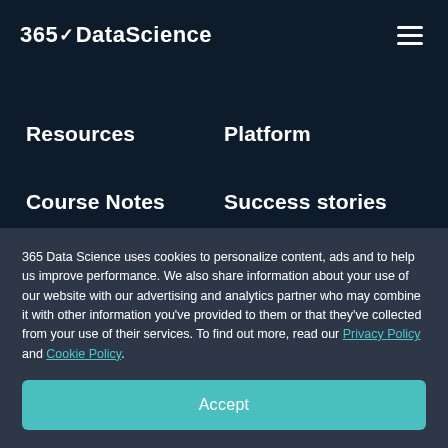365 DataScience
Resources
Platform
Course Notes
Success stories
Templates
Q&A Hub
365 Data Science uses cookies to personalize content, ads and to help us improve performance. We also share information about your use of our website with our advertising and analytics partner who may combine it with other information you've provided to them or that they've collected from your use of their services. To find out more, read our Privacy Policy and Cookie Policy.
Accept